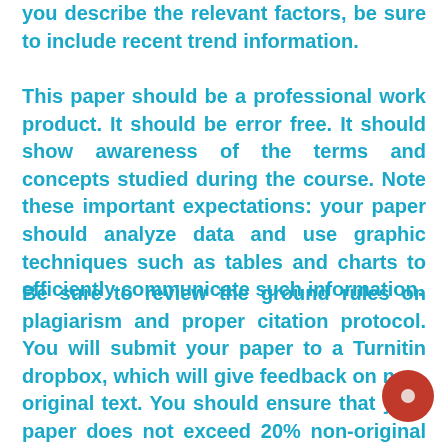you describe the relevant factors, be sure to include recent trend information.
This paper should be a professional work product. It should be error free. It should show awareness of the terms and concepts studied during the course. Note these important expectations: your paper should analyze data and use graphic techniques such as tables and charts to efficiently communicate such information.
Be sure to review the ground rules on plagiarism and proper citation protocol. You will submit your paper to a Turnitin dropbox, which will give feedback on non-original text. You should ensure that your paper does not exceed 20% non-original text, and you must ensure that all the non-original text in your paper is properly quoted and cited.